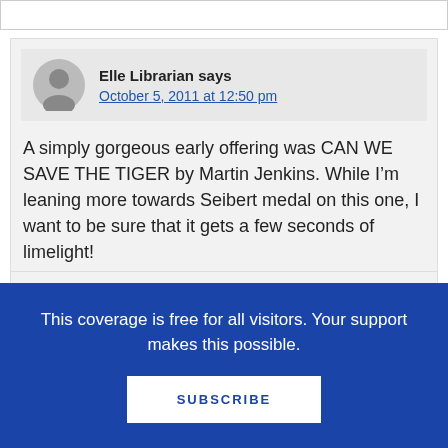Elle Librarian says
October 5, 2011 at 12:50 pm
A simply gorgeous early offering was CAN WE SAVE THE TIGER by Martin Jenkins. While I’m leaning more towards Seibert medal on this one, I want to be sure that it gets a few seconds of limelight!
This coverage is free for all visitors. Your support makes this possible.
SUBSCRIBE